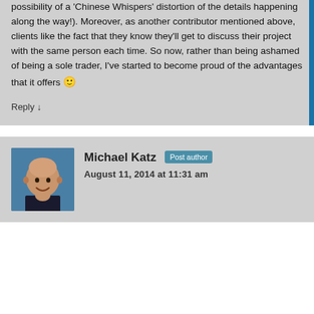possibility of a 'Chinese Whispers' distortion of the details happening along the way!). Moreover, as another contributor mentioned above, clients like the fact that they know they'll get to discuss their project with the same person each time. So now, rather than being ashamed of being a sole trader, I've started to become proud of the advantages that it offers 🙂
Reply ↓
Michael Katz
Post author
August 11, 2014 at 11:31 am
[Figure (photo): Headshot photo of Michael Katz, a bald smiling man against a blue background]